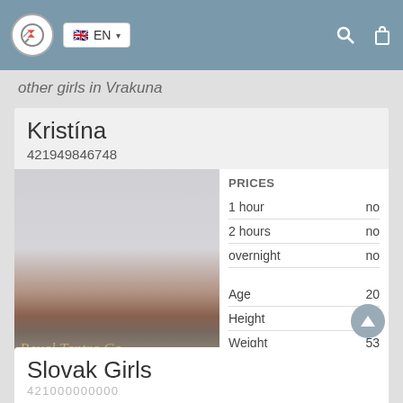EN
other girls in Vrakuna
Kristína
421949846748
[Figure (photo): Blurred photo of a woman with brown hair, watermark text 'Royal Tantra Ca...' overlaid, location label 'vrakuňa' at bottom]
|  |  |
| --- | --- |
| PRICES |  |
| 1 hour | no |
| 2 hours | no |
| overnight | no |
| Age | 20 |
| Height | 168 |
| Weight | 53 |
| Breast | 2 |
Slovak Girls
421000000000